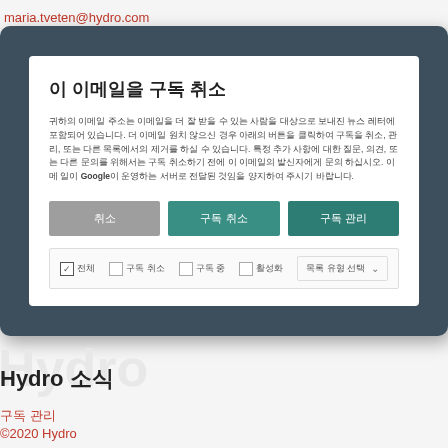maria.tveten@hydro.com
[Figure (screenshot): A modal dialog box on a dark blue-gray rounded background, containing a white inner card with Korean text title, Korean body text mentioning Google, three buttons (gray, teal, teal), and a filter bar with checkboxes and a dropdown.]
Hydro
Hydro 소식
구독 관리
©2020 Hydro